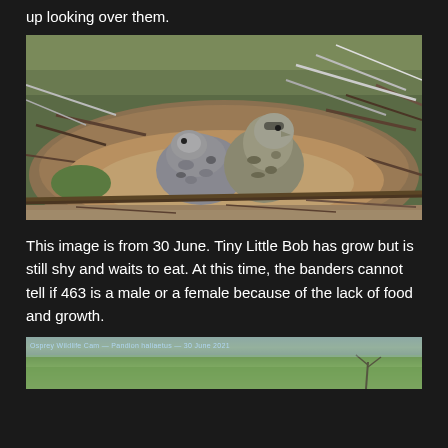up looking over them.
[Figure (photo): Two osprey chicks in a large stick nest, photographed from above. The chicks have brown and white speckled feathers and are huddled together among twigs and grass.]
This image is from 30 June. Tiny Little Bob has grow but is still shy and waits to eat. At this time, the banders cannot tell if 463 is a male or a female because of the lack of food and growth.
[Figure (photo): Partial view of a wildlife camera or landscape photo showing a green field near water with a bare tree. Overlay text visible at top.]